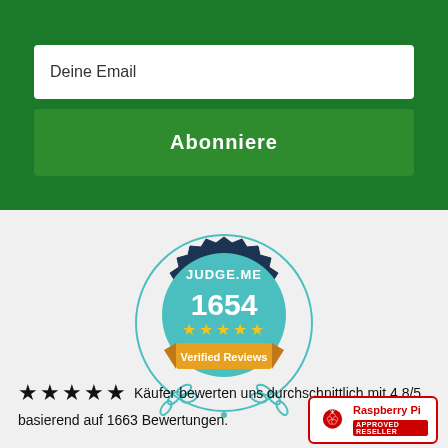Deine Email
Abonniere
[Figure (logo): Judge.me badge showing 1654 verified reviews with 5 stars]
★★★★★ Käufer bewerten uns durchschnittlich mit 4.8/5 basierend auf 1663 Bewertungen.
[Figure (logo): Raspberry Pi Approved Reseller badge]